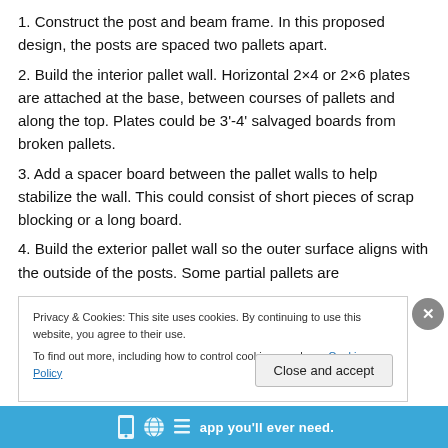1. Construct the post and beam frame. In this proposed design, the posts are spaced two pallets apart.
2. Build the interior pallet wall. Horizontal 2×4 or 2×6 plates are attached at the base, between courses of pallets and along the top. Plates could be 3'-4' salvaged boards from broken pallets.
3. Add a spacer board between the pallet walls to help stabilize the wall. This could consist of short pieces of scrap blocking or a long board.
4. Build the exterior pallet wall so the outer surface aligns with the outside of the posts. Some partial pallets are
Privacy & Cookies: This site uses cookies. By continuing to use this website, you agree to their use.
To find out more, including how to control cookies, see here: Cookie Policy
[Figure (screenshot): Blue advertisement bar at the bottom with app icons and the text 'app you'll ever need.']